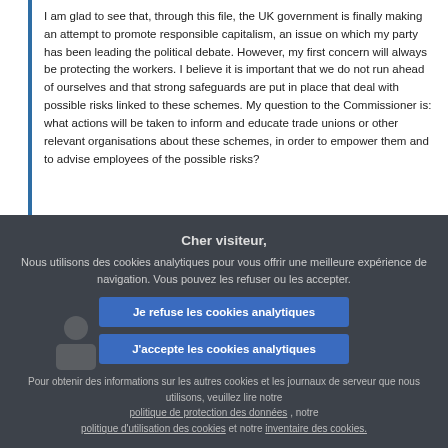I am glad to see that, through this file, the UK government is finally making an attempt to promote responsible capitalism, an issue on which my party has been leading the political debate. However, my first concern will always be protecting the workers. I believe it is important that we do not run ahead of ourselves and that strong safeguards are put in place that deal with possible risks linked to these schemes. My question to the Commissioner is: what actions will be taken to inform and educate trade unions or other relevant organisations about these schemes, in order to empower them and to advise employees of the possible risks?
Cher visiteur,
Nous utilisons des cookies analytiques pour vous offrir une meilleure expérience de navigation. Vous pouvez les refuser ou les accepter.
Je refuse les cookies analytiques
J'accepte les cookies analytiques
Pour obtenir des informations sur les autres cookies et les journaux de serveur que nous utilisons, veuillez lire notre politique de protection des données , notre politique d'utilisation des cookies et notre inventaire des cookies.